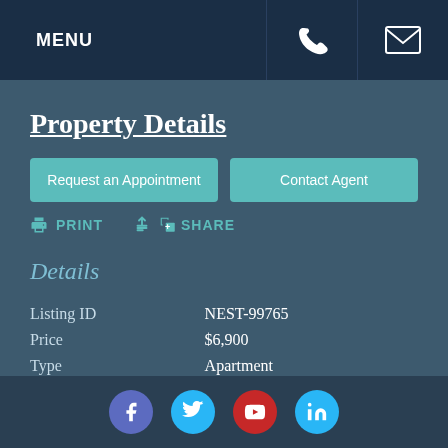MENU
Property Details
Request an Appointment
Contact Agent
PRINT
SHARE
Details
| Field | Value |
| --- | --- |
| Listing ID | NEST-99765 |
| Price | $6,900 |
| Type | Apartment |
| Bedrooms | 4 |
| Bathrooms | 2 |
| Neighborhood | Financial District |
Social icons: Facebook, Twitter, YouTube, LinkedIn